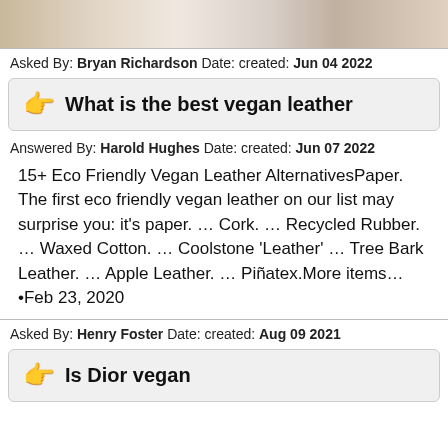[Figure (photo): Partial photo strip at top showing people, cropped]
Asked By: Bryan Richardson Date: created: Jun 04 2022
👉 What is the best vegan leather
Answered By: Harold Hughes Date: created: Jun 07 2022
15+ Eco Friendly Vegan Leather AlternativesPaper. The first eco friendly vegan leather on our list may surprise you: it's paper. … Cork. … Recycled Rubber. … Waxed Cotton. … Coolstone 'Leather' … Tree Bark Leather. … Apple Leather. … Piñatex.More items…•Feb 23, 2020
Asked By: Henry Foster Date: created: Aug 09 2021
👉 Is Dior vegan